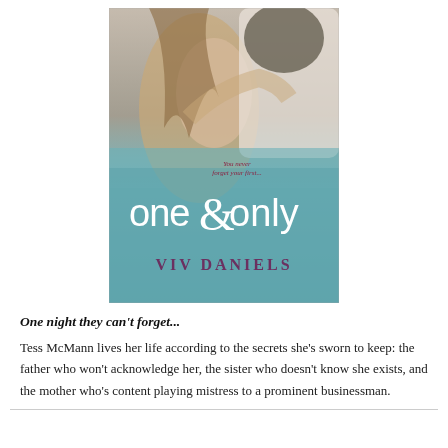[Figure (illustration): Book cover of 'one & only' by Viv Daniels. Shows a romantic couple about to kiss, with a teal/blue-green watercolor background. The title 'one & only' is displayed in large white text with an ampersand, and the author name 'VIV DANIELS' appears at the bottom. A tagline reads 'You never forget your first...']
One night they can't forget...
Tess McMann lives her life according to the secrets she’s sworn to keep: the father who won’t acknowledge her, the sister who doesn’t know she exists, and the mother who’s content playing mistress to a prominent businessman.